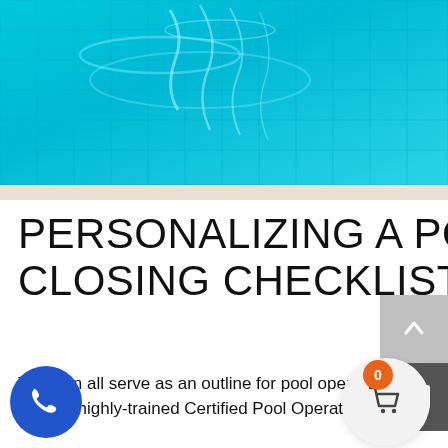[Figure (photo): Aerial/overhead view of a swimming pool showing blue tiled bottom with rippling water and a light-colored pool coping edge at the bottom of the frame.]
PERSONALIZING A POOL OPENING AND CLOSING CHECKLIST
This can all serve as an outline for pool opening and closing at a swimming facility, but every location is different. It takes a highly-trained Certified Pool Operator® to fill in the gaps and customize the